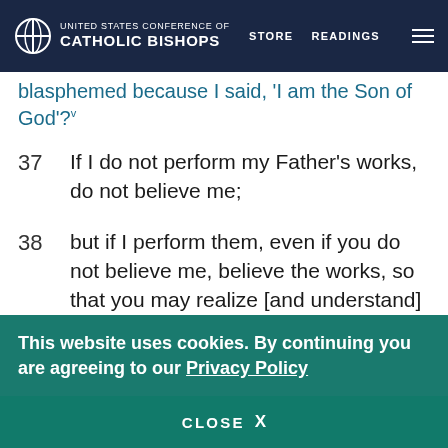United States Conference of Catholic Bishops — STORE  READINGS
blasphemed because I said, 'I am the Son of God'?v
37  If I do not perform my Father's works, do not believe me;
38  but if I perform them, even if you do not believe me, believe the works, so that you may realize [and understand] that the Father is in me and I am in the Father.”w
39  [Then] they tried again to arrest him; but he
This website uses cookies. By continuing you are agreeing to our Privacy Policy
CLOSE  X